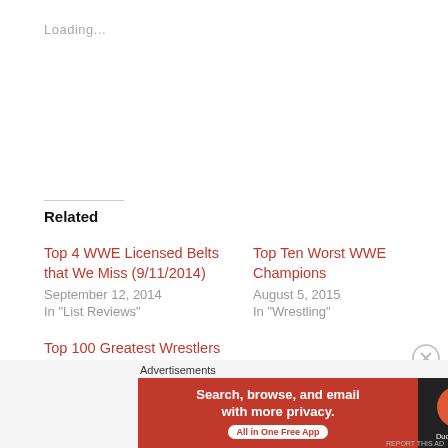Loading...
Related
Top 4 WWE Licensed Belts that We Miss (9/11/2014)
September 12, 2014
In "List Reviews"
Top Ten Worst WWE Champions
August 5, 2015
In "Wrestling"
Top 100 Greatest Wrestlers of All Time 80-71
October 12, 2016
In "Wrestling"
Advertisements
[Figure (screenshot): DuckDuckGo advertisement banner: 'Search, browse, and email with more privacy. All in One Free App' with DuckDuckGo logo on dark background]